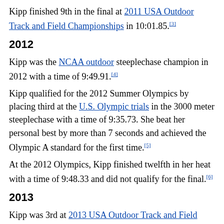Kipp finished 9th in the final at 2011 USA Outdoor Track and Field Championships in 10:01.85.[3]
2012
Kipp was the NCAA outdoor steeplechase champion in 2012 with a time of 9:49.91.[4]
Kipp qualified for the 2012 Summer Olympics by placing third at the U.S. Olympic trials in the 3000 meter steeplechase with a time of 9:35.73. She beat her personal best by more than 7 seconds and achieved the Olympic A standard for the first time.[5]
At the 2012 Olympics, Kipp finished twelfth in her heat with a time of 9:48.33 and did not qualify for the final.[6]
2013
Kipp was 3rd at 2013 USA Outdoor Track and Field Championships steeplechase with a time of 9:46.83. Kipp qualified for the 2013 World Championships in Athletics by placing third at the U.S. Championship in the 3000 meter steeplechase with a time of 9:46.83 and achieving a qualifying time of 9:37.23 to place 4th